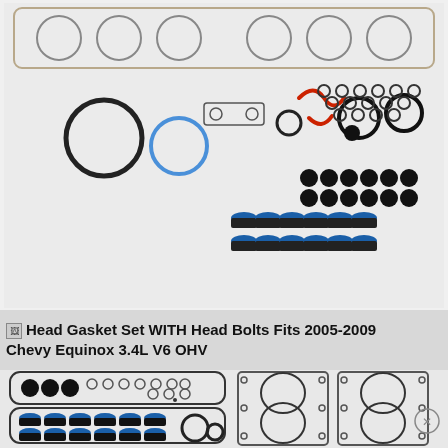[Figure (photo): Gasket set components spread out showing various rubber O-rings, seals, valve stem seals, and gaskets on a white/grey background]
Head Gasket Set WITH Head Bolts Fits 2005-2009 Chevy Equinox 3.4L V6 OHV
[Figure (photo): Head gasket set components including valve cover gaskets, cylinder head gaskets, intake manifold gaskets shown on grey background]